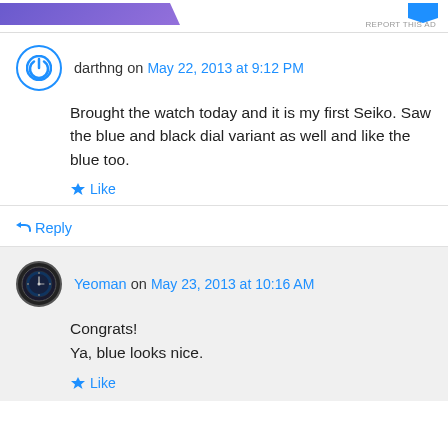[Figure (other): Advertisement banner with purple diagonal shape on left and blue arrow shape on right, with 'REPORT THIS AD' text]
darthng on May 22, 2013 at 9:12 PM
Brought the watch today and it is my first Seiko. Saw the blue and black dial variant as well and like the blue too.
Like
Reply
Yeoman on May 23, 2013 at 10:16 AM
Congrats!
Ya, blue looks nice.
Like